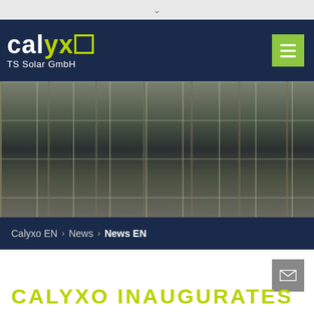[Figure (logo): Calyxo TS Solar GmbH logo — white and lime-green text on dark navy background, with a green square outline replacing the letter 'o' in 'calyxo']
[Figure (photo): Close-up photograph of solar panels or photovoltaic module grid structure, blurred/shallow depth of field, showing dark rectangular cells in a metal frame grid]
Calyxo EN › News › News EN
CALYXO INAUGURATES